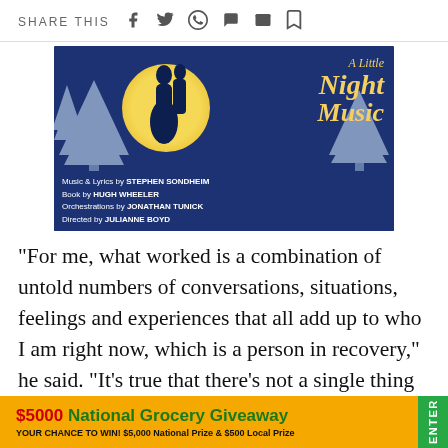SHARE THIS
[Figure (illustration): A Little Night Music musical poster showing a couple silhouetted against a large yellow moon, blue winter night background with trees. Text: Music & Lyrics by STEPHEN SONDHEIM, Book by HUGH WHEELER, Orchestrations by JONATHAN TUNICK, Directed by JULIANNE BOYD]
“For me, what worked is a combination of untold numbers of conversations, situations, feelings and experiences that all add up to who I am right now, which is a person in recovery,” he said. “It’s true that there’s not a single thing anyone can say to convince someone else to stop u... comp...
[Figure (other): Advertisement banner: $5000 National Grocery Giveaway. YOUR CHANCE TO WIN! $5,000 National Prize & $500 Local Prize. ENTER button in green.]